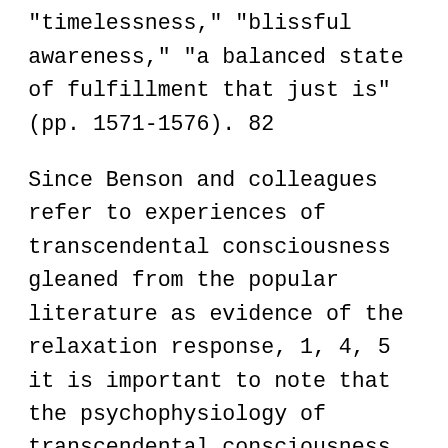"timelessness," "blissful awareness," "a balanced state of fulfillment that just is" (pp. 1571-1576). 82
Since Benson and colleagues refer to experiences of transcendental consciousness gleaned from the popular literature as evidence of the relaxation response, 1, 4, 5 it is important to note that the psychophysiology of transcendental consciousness
This website uses cookies to ensure you get the best experience on our website.
See our Privacy Policy.
I Accept
the onset of the experience. 72 Other changes not